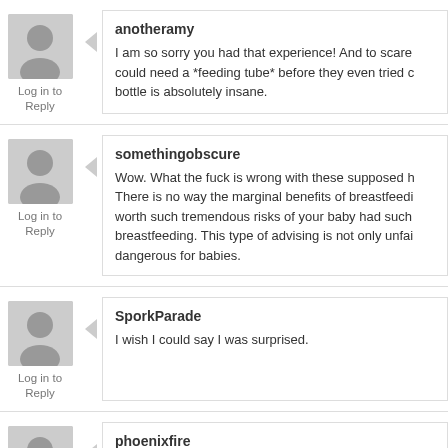anotheramy
Log in to Reply
I am so sorry you had that experience! And to scare could need a *feeding tube* before they even tried c bottle is absolutely insane.
somethingobscure
Log in to Reply
Wow. What the fuck is wrong with these supposed h There is no way the marginal benefits of breastfeedi worth such tremendous risks of your baby had such breastfeeding. This type of advising is not only unfai dangerous for babies.
SporkParade
Log in to Reply
I wish I could say I was surprised.
phoenixfire